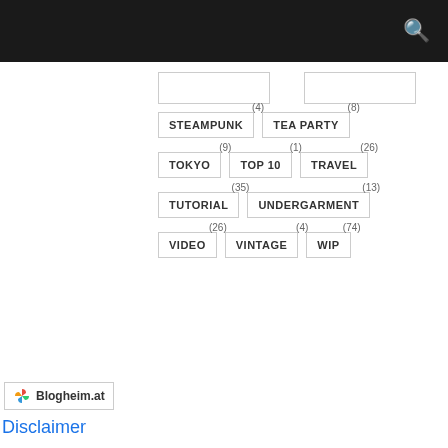STEAMPUNK (4)
TEA PARTY (8)
TOKYO (9)
TOP 10 (1)
TRAVEL (26)
TUTORIAL (35)
UNDERGARMENT (13)
VIDEO (26)
VINTAGE (4)
WIP (74)
[Figure (logo): Blogheim.at logo badge with colorful pinwheel icon]
Disclaimer